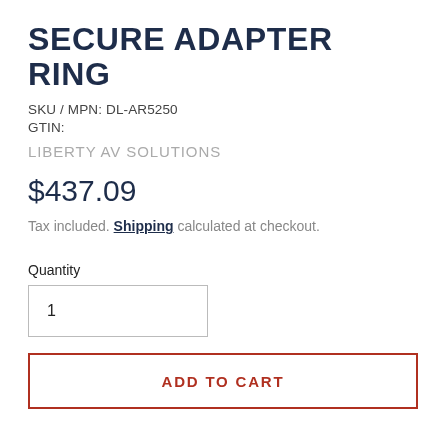SECURE ADAPTER RING
SKU / MPN: DL-AR5250
GTIN:
LIBERTY AV SOLUTIONS
$437.09
Tax included. Shipping calculated at checkout.
Quantity
1
ADD TO CART